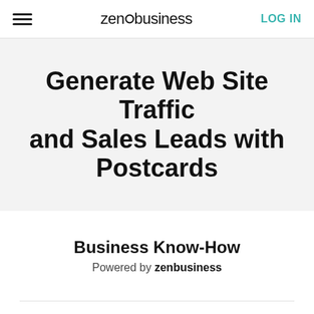zenbusiness  LOG IN
Generate Web Site Traffic and Sales Leads with Postcards
Business Know-How
Powered by zenbusiness
BLOG MENU